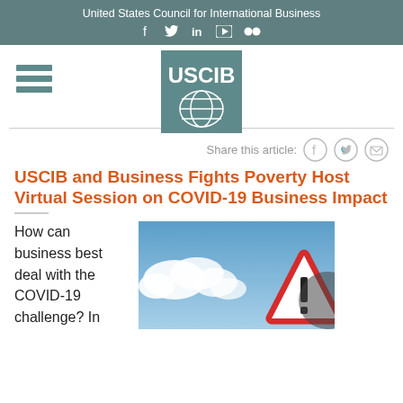United States Council for International Business
[Figure (logo): USCIB logo with globe icon on teal background]
Share this article:
USCIB and Business Fights Poverty Host Virtual Session on COVID-19 Business Impact
How can business best deal with the COVID-19 challenge? In
[Figure (photo): Warning triangle sign with exclamation mark against a blue sky with clouds]